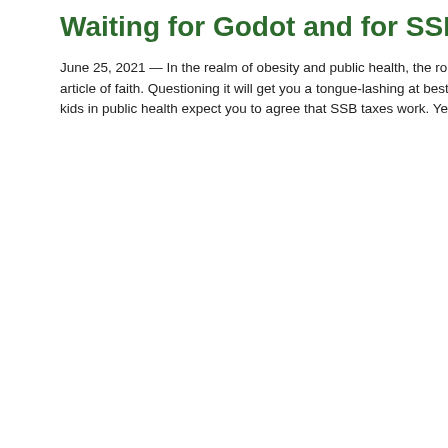Waiting for Godot and for SSB Taxes to Work
June 25, 2021 — In the realm of obesity and public health, the role of sugar-sweetened beverages (SSBs) is an article of faith. Questioning it will get you a tongue-lashing at best, but more likely a shunning. The cool kids in public health expect you to agree that SSB taxes work. Yet again,